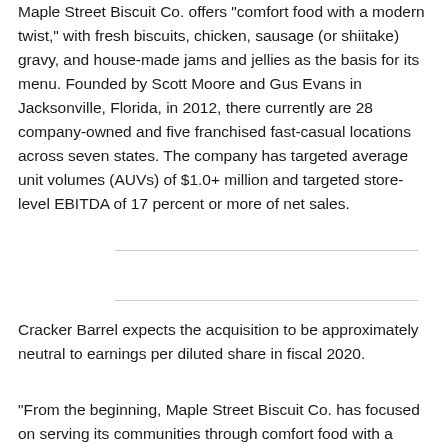Maple Street Biscuit Co. offers "comfort food with a modern twist," with fresh biscuits, chicken, sausage (or shiitake) gravy, and house-made jams and jellies as the basis for its menu. Founded by Scott Moore and Gus Evans in Jacksonville, Florida, in 2012, there currently are 28 company-owned and five franchised fast-casual locations across seven states. The company has targeted average unit volumes (AUVs) of $1.0+ million and targeted store-level EBITDA of 17 percent or more of net sales.
Cracker Barrel expects the acquisition to be approximately neutral to earnings per diluted share in fiscal 2020.
"From the beginning, Maple Street Biscuit Co. has focused on serving its communities through comfort food with a modern